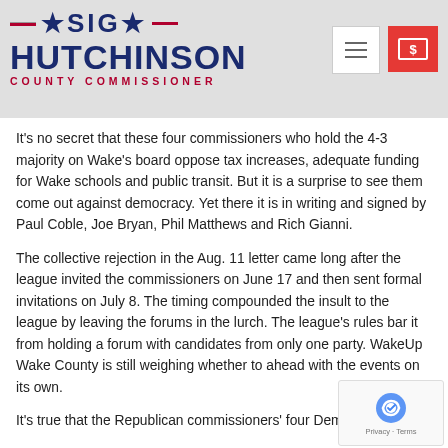[Figure (logo): Sig Hutchinson County Commissioner campaign logo with red stars and double horizontal lines, blue bold text, red subtitle]
It's no secret that these four commissioners who hold the 4-3 majority on Wake's board oppose tax increases, adequate funding for Wake schools and public transit. But it is a surprise to see them come out against democracy. Yet there it is in writing and signed by Paul Coble, Joe Bryan, Phil Matthews and Rich Gianni.
The collective rejection in the Aug. 11 letter came long after the league invited the commissioners on June 17 and then sent formal invitations on July 8. The timing compounded the insult to the league by leaving the forums in the lurch. The league's rules bar it from holding a forum with candidates from only one party. WakeUp Wake County is still weighing whether to ahead with the events on its own.
It's true that the Republican commissioners' four Democratic